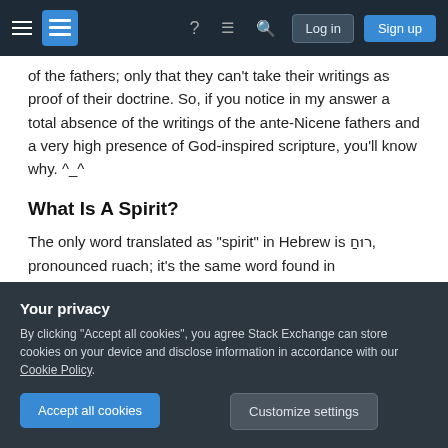Stack Exchange navigation bar with hamburger menu, logo, help, chat, search icons, Log in and Sign up buttons
of the fathers; only that they can't take their writings as proof of their doctrine. So, if you notice in my answer a total absence of the writings of the ante-Nicene fathers and a very high presence of God-inspired scripture, you'll know why. ^_^
What Is A Spirit?
The only word translated as "spirit" in Hebrew is רוּחַ, pronounced ruach; it's the same word found in Ecclesiastes 12:7. It has many meanings; it does not
Your privacy
By clicking "Accept all cookies", you agree Stack Exchange can store cookies on your device and disclose information in accordance with our Cookie Policy.
Accept all cookies
Customize settings